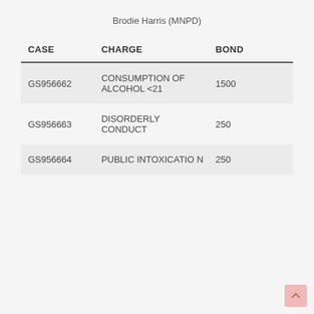Brodie Harris (MNPD)
| CASE | CHARGE | BOND |
| --- | --- | --- |
| GS956662 | CONSUMPTION OF ALCOHOL <21 | 1500 |
| GS956663 | DISORDERLY CONDUCT | 250 |
| GS956664 | PUBLIC INTOXICATION | 250 |